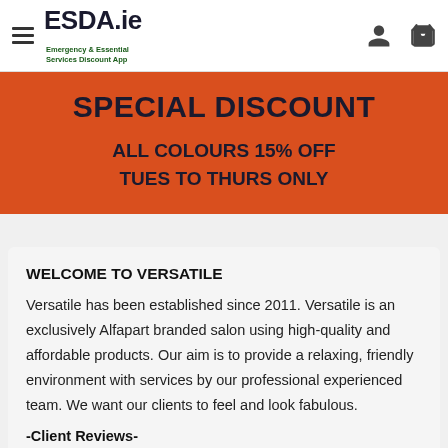ESDA.ie — Emergency & Essential Services Discount App
SPECIAL DISCOUNT
ALL COLOURS 15% OFF
TUES TO THURS ONLY
WELCOME TO VERSATILE
Versatile has been established since 2011. Versatile is an exclusively Alfapart branded salon using high-quality and affordable products. Our aim is to provide a relaxing, friendly environment with services by our professional experienced team. We want our clients to feel and look fabulous.
-Client Reviews-
"waiting so long to get my hair done...definitely well worth the